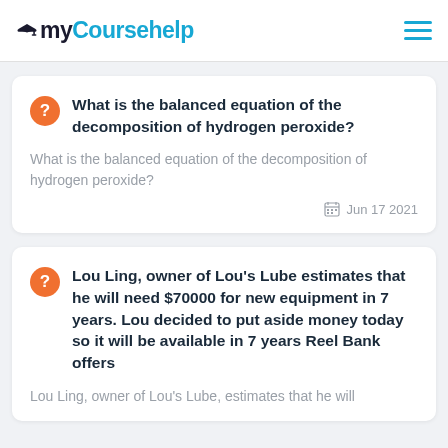myCoursehelp
What is the balanced equation of the decomposition of hydrogen peroxide?
What is the balanced equation of the decomposition of hydrogen peroxide?
Jun 17 2021
Lou Ling, owner of Lou's Lube estimates that he will need $70000 for new equipment in 7 years. Lou decided to put aside money today so it will be available in 7 years Reel Bank offers
Lou Ling, owner of Lou's Lube, estimates that he will